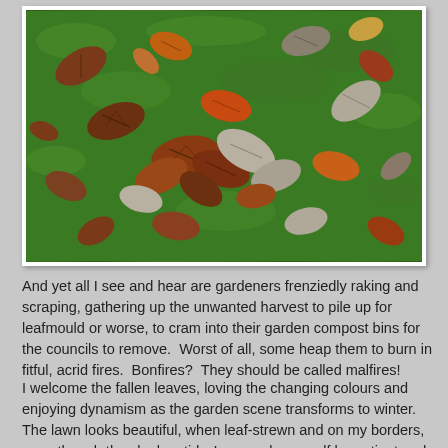[Figure (photo): Autumn fallen leaves scattered on green grass lawn. Leaves are brown, orange, rust, and grey-white in various shapes.]
And yet all I see and hear are gardeners frenziedly raking and scraping, gathering up the unwanted harvest to pile up for leafmould or worse, to cram into their garden compost bins for the councils to remove.  Worst of all, some heap them to burn in fitful, acrid fires.  Bonfires?  They should be called malfires!
I welcome the fallen leaves, loving the changing colours and enjoying dynamism as the garden scene transforms to winter.  The lawn looks beautiful, when leaf-strewn and on my borders, even though they look untidy, I can make myself be patient and wait for rotting to begin.  That is so much